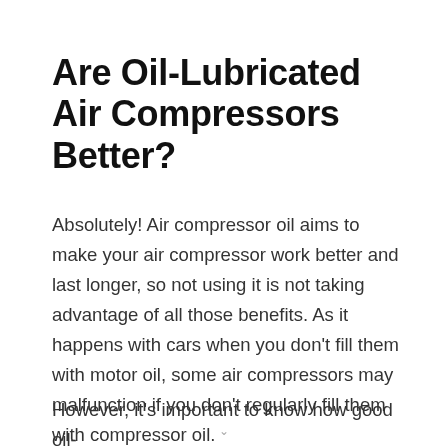Are Oil-Lubricated Air Compressors Better?
Absolutely! Air compressor oil aims to make your air compressor work better and last longer, so not using it is not taking advantage of all those benefits. As it happens with cars when you don't fill them with motor oil, some air compressors may malfunction if you don't regularly fill them with compressor oil.
However, it's important to know how good oil-